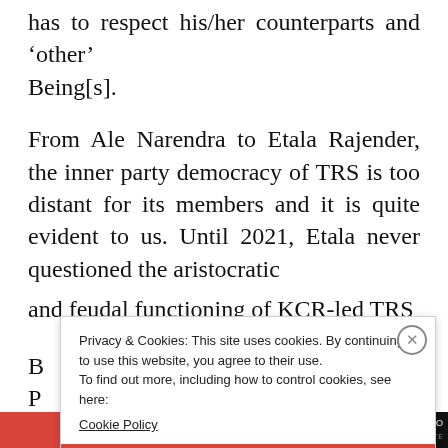has to respect his/her counterparts and ‘other’ Being[s].
From Ale Narendra to Etala Rajender, the inner party democracy of TRS is too distant for its members and it is quite evident to us. Until 2021, Etala never questioned the aristocratic and feudal functioning of KCR-led TRS.
Privacy & Cookies: This site uses cookies. By continuing to use this website, you agree to their use.
To find out more, including how to control cookies, see here:
Cookie Policy
CLOSE AND ACCEPT